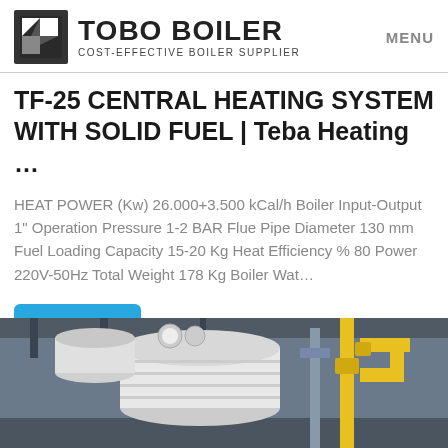TOBO BOILER COST-EFFECTIVE BOILER SUPPLIER | MENU
TF-25 CENTRAL HEATING SYSTEM WITH SOLID FUEL | Teba Heating …
HEAT POWER (Kw) 26.000+3.500 kCal/h Boiler Input-Output 1" Operation Pressure 1-2 BAR Flue Pipe Diameter 130 mm Fuel Loading Capacity 15-20 Kg Heat Efficiency % 80 Power 220V-50Hz Total Weight 178 Kg Boiler Wat…
Get Price
[Figure (photo): Industrial boiler equipment photograph showing a large cylindrical white boiler unit and yellow piping with fittings inside a factory/warehouse setting]